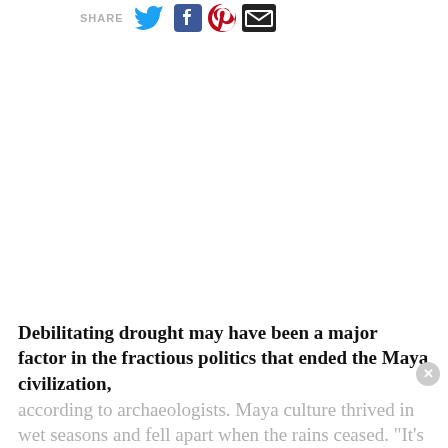SHARE
Debilitating drought may have been a major factor in the fractious politics that ended the Maya civilization, according to archaeologists. Maya culture thrived in wet seasons and fell apart when the rains ceased. "It's